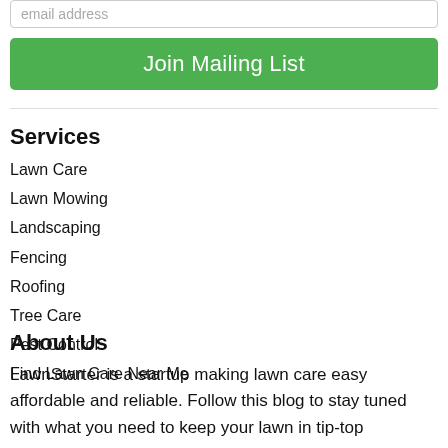email address
Join Mailing List
Services
Lawn Care
Lawn Mowing
Landscaping
Fencing
Roofing
Tree Care
Pest Control
Find Lawn Care Near Me
About Us
LawnStarter is a startup making lawn care easy affordable and reliable. Follow this blog to stay tuned with what you need to keep your lawn in tip-top